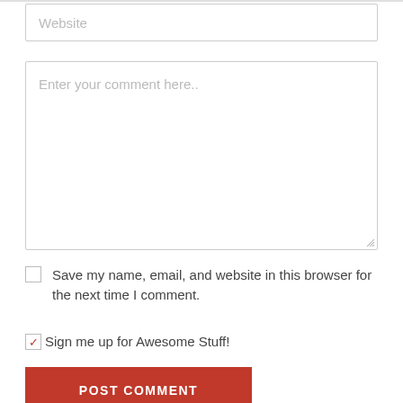[Figure (screenshot): Website input field placeholder]
[Figure (screenshot): Comment textarea with placeholder text 'Enter your comment here..']
Save my name, email, and website in this browser for the next time I comment.
Sign me up for Awesome Stuff!
POST COMMENT